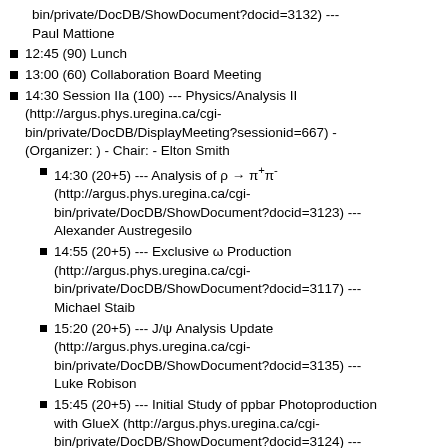bin/private/DocDB/ShowDocument?docid=3132) --- Paul Mattione
12:45 (90) Lunch
13:00 (60) Collaboration Board Meeting
14:30 Session IIa (100) --- Physics/Analysis II (http://argus.phys.uregina.ca/cgi-bin/private/DocDB/DisplayMeeting?sessionid=667) - (Organizer: ) - Chair: - Elton Smith
14:30 (20+5) --- Analysis of ρ → π⁺π⁻ (http://argus.phys.uregina.ca/cgi-bin/private/DocDB/ShowDocument?docid=3123) --- Alexander Austregesilo
14:55 (20+5) --- Exclusive ω Production (http://argus.phys.uregina.ca/cgi-bin/private/DocDB/ShowDocument?docid=3117) --- Michael Staib
15:20 (20+5) --- J/ψ Analysis Update (http://argus.phys.uregina.ca/cgi-bin/private/DocDB/ShowDocument?docid=3135) --- Luke Robison
15:45 (20+5) --- Initial Study of ppbar Photoproduction with GlueX (http://argus.phys.uregina.ca/cgi-bin/private/DocDB/ShowDocument?docid=3124) --- Reinhard Schumacher
16:10 (20) Coffee